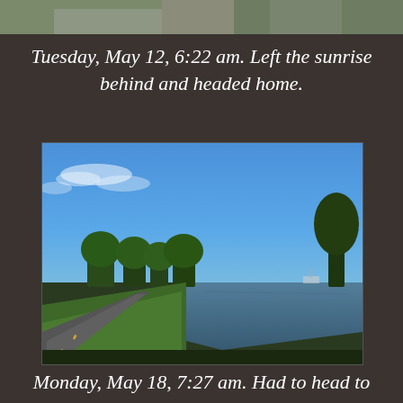[Figure (photo): Top partial photo strip showing a path/road scene cropped at top of page]
Tuesday, May 12, 6:22 am. Left the sunrise behind and headed home.
[Figure (photo): Outdoor photo of a paved bike/walking path alongside a body of water with green trees and a clear blue sky with a few clouds]
Monday, May 18, 7:27 am. Had to head to a